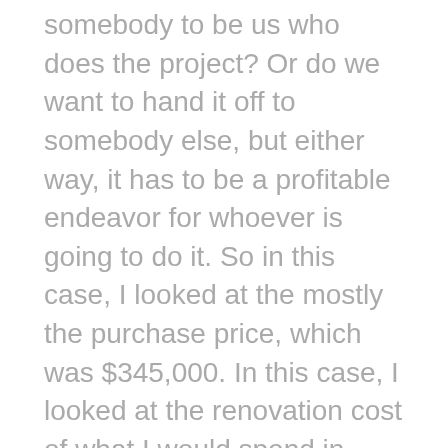somebody to be us who does the project? Or do we want to hand it off to somebody else, but either way, it has to be a profitable endeavor for whoever is going to do it. So in this case, I looked at the mostly the purchase price, which was $345,000. In this case, I looked at the renovation cost of what I would spend in order to renovate it for the market who would buy it as a retail flip, right? So that renovation is different than a rental renovation, I would do. So I looked at that. And I said, I think I probably spent $100,000 renovating this to make it the optimal single-family home to resell. What would it be worth after I did that hundred thousand dollars' worth of work? And thus, what could I sell it for? And if I did sell it, what would the profit be? And then I looked at that, and I said, Okay, well, if in say six months, I could have that profit, that would be my flip scenario. And I looked at